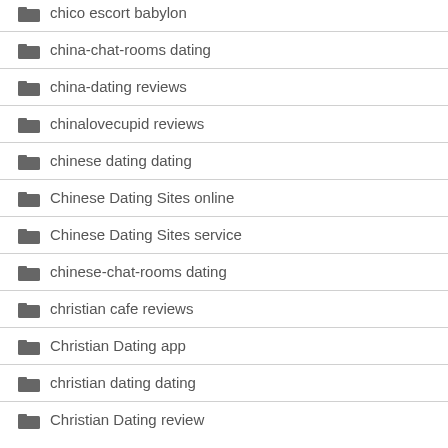chico escort babylon
china-chat-rooms dating
china-dating reviews
chinalovecupid reviews
chinese dating dating
Chinese Dating Sites online
Chinese Dating Sites service
chinese-chat-rooms dating
christian cafe reviews
Christian Dating app
christian dating dating
Christian Dating review